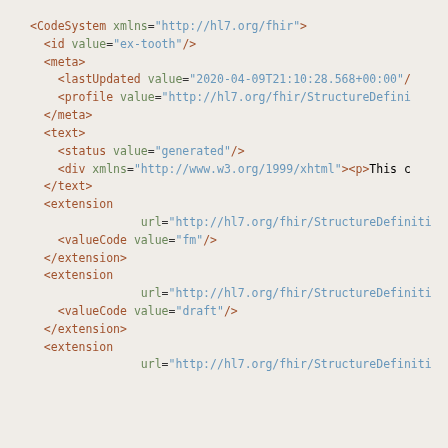XML/FHIR CodeSystem definition snippet showing CodeSystem, id, meta, lastUpdated, profile, text, status, div, extension, valueCode elements